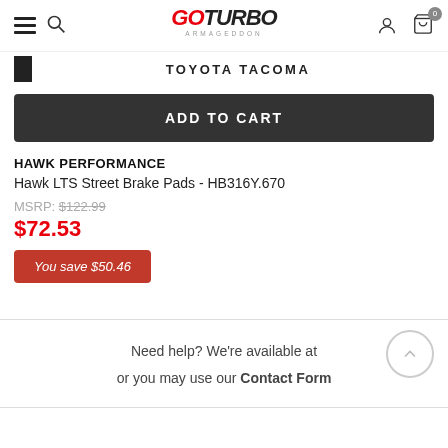GOTURBO ARMAGEDDON
TOYOTA TACOMA
ADD TO CART
HAWK PERFORMANCE
Hawk LTS Street Brake Pads - HB316Y.670
MSRP: $122.99
$72.53
You save $50.46
Need help? We're available at or you may use our Contact Form